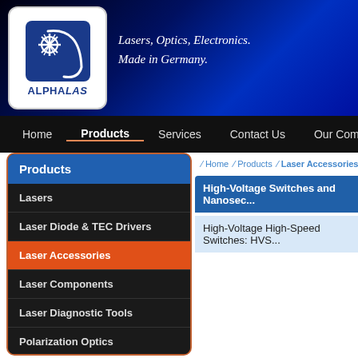[Figure (logo): ALPHALAS logo: white rounded square with blue laser/optics graphic and ALPHALAS text]
Lasers, Optics, Electronics.
Made in Germany.
Home  Products  Services  Contact Us  Our Company
Products
Lasers
Laser Diode & TEC Drivers
Laser Accessories
Laser Components
Laser Diagnostic Tools
Polarization Optics
Home / Products / Laser Accessories
High-Voltage Switches and Nanosec...
High-Voltage High-Speed Switches: HVS...